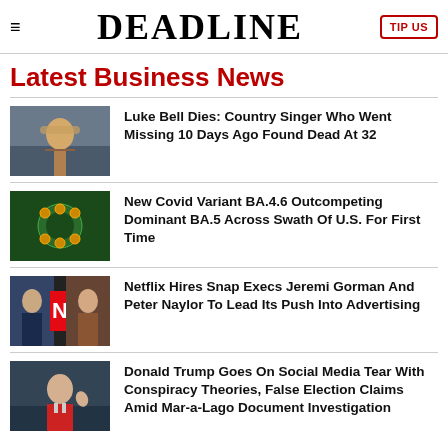DEADLINE
Latest Business News
[Figure (photo): Country singer Luke Bell playing guitar with cowboy hat]
Luke Bell Dies: Country Singer Who Went Missing 10 Days Ago Found Dead At 32
[Figure (photo): Microscopic image of Covid virus particles]
New Covid Variant BA.4.6 Outcompeting Dominant BA.5 Across Swath Of U.S. For First Time
[Figure (photo): Two Netflix executives Jeremi Gorman and Peter Naylor with Netflix logo]
Netflix Hires Snap Execs Jeremi Gorman And Peter Naylor To Lead Its Push Into Advertising
[Figure (photo): Donald Trump waving at event]
Donald Trump Goes On Social Media Tear With Conspiracy Theories, False Election Claims Amid Mar-a-Lago Document Investigation